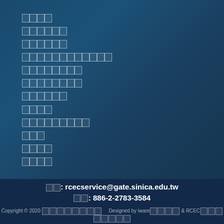████
██████
██████
████████████
████████
████████
██████
████
█████████
███
████
████
信箱: rcecservice@gate.sinica.edu.tw
電話: 886-2-2783-3584
Copyright © 2020 ████████    Designed by iware████ & RCEC████████